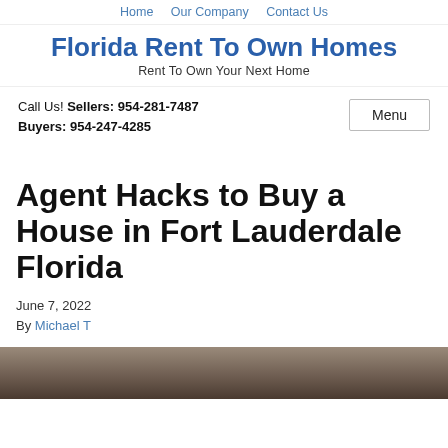Home   Our Company   Contact Us
Florida Rent To Own Homes
Rent To Own Your Next Home
Call Us! Sellers: 954-281-7487 Buyers: 954-247-4285
Agent Hacks to Buy a House in Fort Lauderdale Florida
June 7, 2022
By Michael T
[Figure (photo): Partial view of a house interior or exterior photo at the bottom of the page]